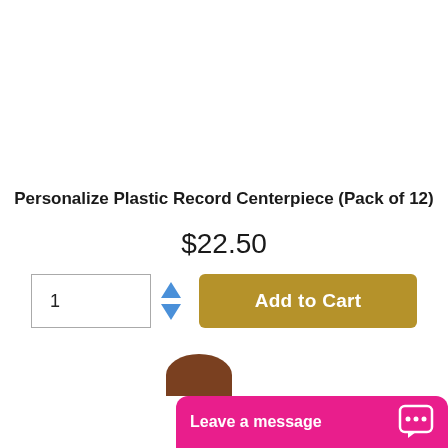Personalize Plastic Record Centerpiece (Pack of 12)
$22.50
[Figure (screenshot): Add to cart row with quantity input box showing '1', up/down spinner arrows, and gold 'Add to Cart' button]
[Figure (screenshot): Pink live chat bar at the bottom with text 'Leave a message' and chat bubble icon]